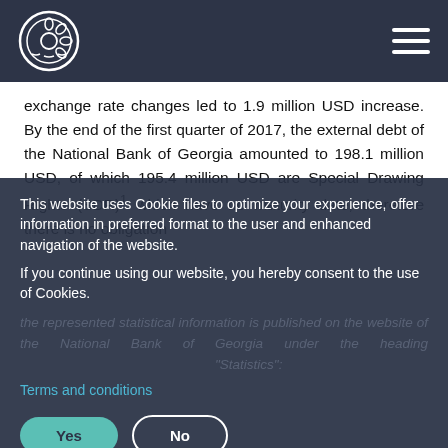National Bank of Georgia
exchange rate changes led to 1.9 million USD increase. By the end of the first quarter of 2017, the external debt of the National Bank of Georgia amounted to 198.1 million USD, of which 195.4 million USD are Special Drawing Rights (SDR)¹ which have no maturity date, therefore there is no obligation
This website uses Cookie files to optimize your experience, offer information in preferred format to the user and enhanced navigation of the website.
If you continue using our website, you hereby consent to the use of Cookies.
Terms and conditions
the represented statistical information is published on the website of the National Bank of Georgia under the heading "Statistics": http://www.nbg.ge/index.php?m=306&lng=eng#external